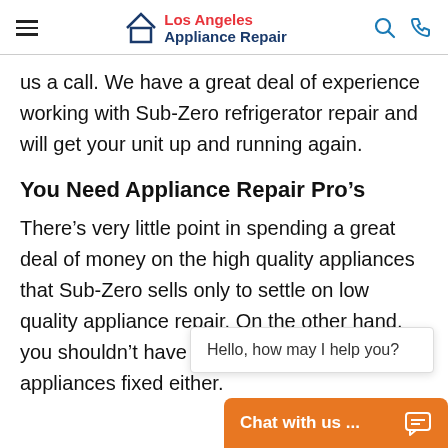Los Angeles Appliance Repair
us a call. We have a great deal of experience working with Sub-Zero refrigerator repair and will get your unit up and running again.
You Need Appliance Repair Pro’s
There’s very little point in spending a great deal of money on the high quality appliances that Sub-Zero sells only to settle on low quality appliance repair. On the other hand, you shouldn’t have to choose between getting appliances fixed either.
Hello, how may I help you?
Chat with us ...